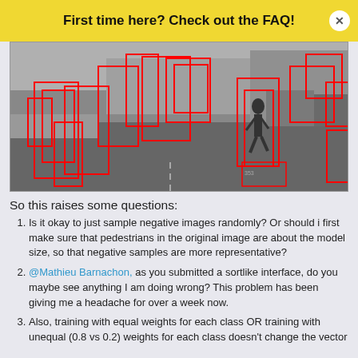First time here? Check out the FAQ!
[Figure (photo): Black and white street scene with multiple red bounding boxes drawn around pedestrians and other objects detected by an object detection algorithm. A person is visible mid-stride in the center-right area. Several cars are parked on the right side. Trees and a fence are visible in the background.]
So this raises some questions:
Is it okay to just sample negative images randomly? Or should i first make sure that pedestrians in the original image are about the model size, so that negative samples are more representative?
@Mathieu Barnachon, as you submitted a sortlike interface, do you maybe see anything I am doing wrong? This problem has been giving me a headache for over a week now.
Also, training with equal weights for each class OR training with unequal (0.8 vs 0.2) weights for each class doesn't change the vector